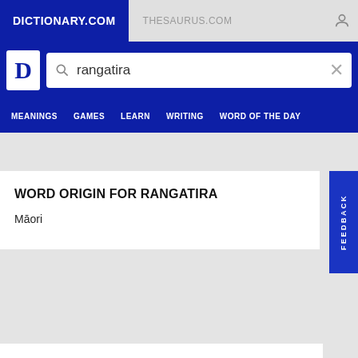DICTIONARY.COM
THESAURUS.COM
rangatira
MEANINGS  GAMES  LEARN  WRITING  WORD OF THE DAY
WORD ORIGIN FOR RANGATIRA
Māori